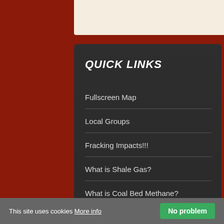QUICK LINKS
Fullscreen Map
Local Groups
Fracking Impacts!!!
What is Shale Gas?
What is Coal Bed Methane?
What is Underground Coal Gasification?
NEW LOCAL GROUPS
This site uses cookies More info No problem